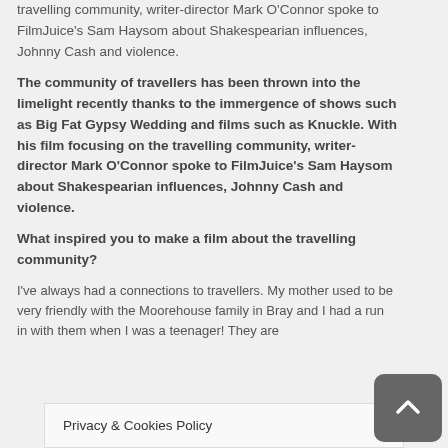travelling community, writer-director Mark O'Connor spoke to FilmJuice's Sam Haysom about Shakespearian influences, Johnny Cash and violence.
The community of travellers has been thrown into the limelight recently thanks to the immergence of shows such as Big Fat Gypsy Wedding and films such as Knuckle. With his film focusing on the travelling community, writer-director Mark O'Connor spoke to FilmJuice's Sam Haysom about Shakespearian influences, Johnny Cash and violence.
What inspired you to make a film about the travelling community?
I've always had a connections to travellers. My mother used to be very friendly with the Moorehouse family in Bray and I had a run in with them when I was a teenager! They are
Privacy & Cookies Policy